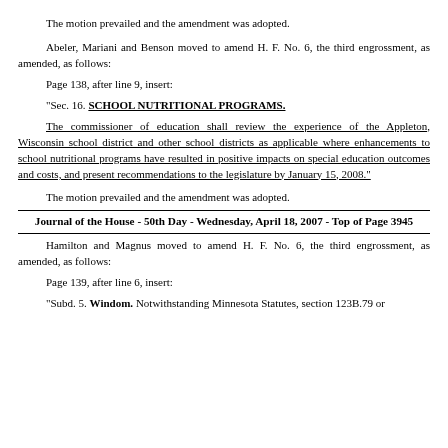The motion prevailed and the amendment was adopted.
Abeler, Mariani and Benson moved to amend H. F. No. 6, the third engrossment, as amended, as follows:
Page 138, after line 9, insert:
"Sec. 16. SCHOOL NUTRITIONAL PROGRAMS.
The commissioner of education shall review the experience of the Appleton, Wisconsin school district and other school districts as applicable where enhancements to school nutritional programs have resulted in positive impacts on special education outcomes and costs, and present recommendations to the legislature by January 15, 2008."
The motion prevailed and the amendment was adopted.
Journal of the House - 50th Day - Wednesday, April 18, 2007 - Top of Page 3945
Hamilton and Magnus moved to amend H. F. No. 6, the third engrossment, as amended, as follows:
Page 139, after line 6, insert:
"Subd. 5. Windom. Notwithstanding Minnesota Statutes, section 123B.79 or